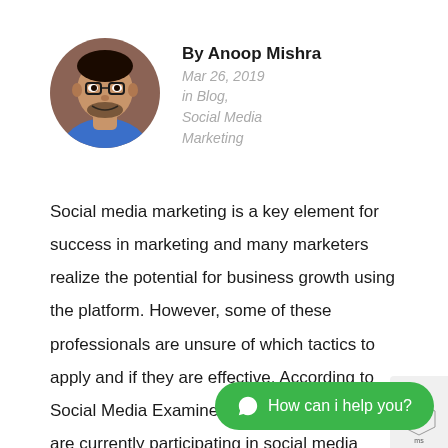[Figure (photo): Circular profile photo of Anoop Mishra, a man wearing glasses and a blue shirt]
By Anoop Mishra
Mar 26, 2019
in Blog,
Social Media Marketing
Social media marketing is a key element for success in marketing and many marketers realize the potential for business growth using the platform. However, some of these professionals are unsure of which tactics to apply and if they are effective. According to Social Media Examiner, about 96% of marketers are currently participating in social media marketing, bu[t] participants aren't sure wh[at]